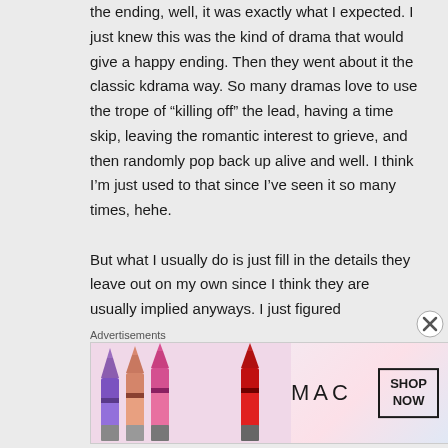the ending, well, it was exactly what I expected. I just knew this was the kind of drama that would give a happy ending. Then they went about it the classic kdrama way. So many dramas love to use the trope of “killing off” the lead, having a time skip, leaving the romantic interest to grieve, and then randomly pop back up alive and well. I think I’m just used to that since I’ve seen it so many times, hehe.

But what I usually do is just fill in the details they leave out on my own since I think they are usually implied anyways. I just figured
Advertisements
[Figure (photo): MAC cosmetics advertisement showing colorful lipsticks on the left, MAC logo in the center, and a SHOP NOW button in a box on the right.]